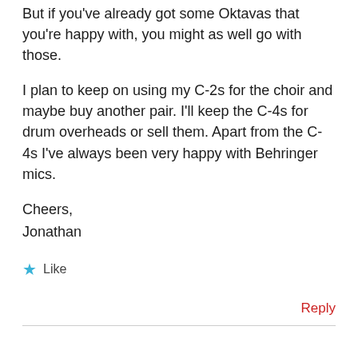But if you've already got some Oktavas that you're happy with, you might as well go with those.
I plan to keep on using my C-2s for the choir and maybe buy another pair. I'll keep the C-4s for drum overheads or sell them. Apart from the C-4s I've always been very happy with Behringer mics.
Cheers,
Jonathan
★ Like
Reply